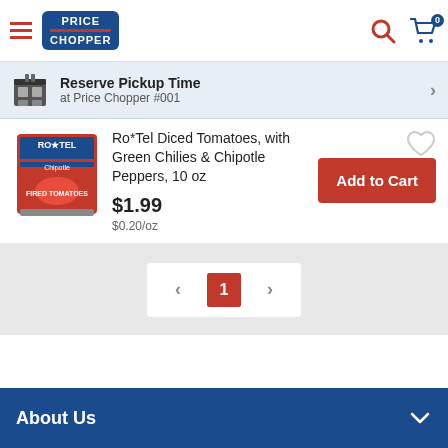Price Chopper — Search icon, Cart (0)
Reserve Pickup Time at Price Chopper #001
Ro*Tel Diced Tomatoes, with Green Chilies & Chipotle Peppers, 10 oz
$1.99
$0.20/oz
Add to Cart
< 1 >
About Us